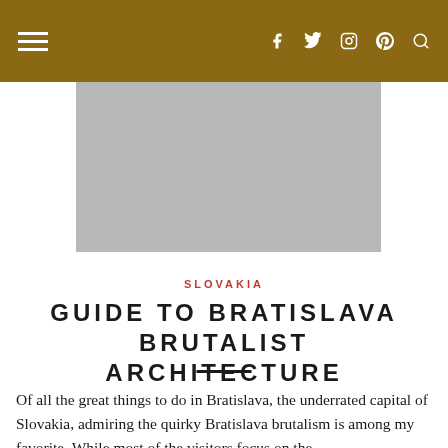Navigation bar with hamburger menu and social icons (Facebook, Twitter, Instagram, Pinterest, Search)
[Figure (photo): Hero image placeholder (gray rectangle) showing a Bratislava brutalist architecture scene]
SLOVAKIA
GUIDE TO BRATISLAVA BRUTALIST ARCHITECTURE
Of all the great things to do in Bratislava, the underrated capital of Slovakia, admiring the quirky Bratislava brutalism is among my favorite. While most of the visitors focus on the